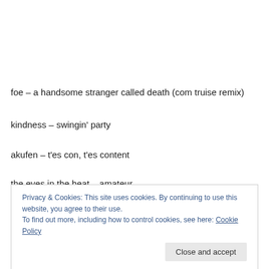foe – a handsome stranger called death (com truise remix)
kindness – swingin' party
akufen – t'es con, t'es content
the eyes in the heat – amateur
Privacy & Cookies: This site uses cookies. By continuing to use this website, you agree to their use.
To find out more, including how to control cookies, see here: Cookie Policy